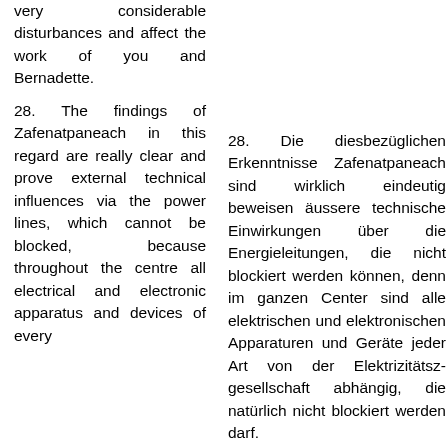very considerable disturbances and affect the work of you and Bernadette.
28. The findings of Zafenatpaneach in this regard are really clear and prove external technical influences via the power lines, which cannot be blocked, because throughout the centre all electrical and electronic apparatus and devices of every
28. Die diesbezüglichen Erkenntnisse Zafenatpaneach sind wirklich eindeutig beweisen äussere technische Einwirkungen über die Energieleitungen, die nicht blockiert werden können, denn im ganzen Center sind alle elektrischen und elektronischen Apparaturen und Geräte jeder Art von der Elektrizitätsgesellschaft abhängig, die natürlich nicht blockiert werden darf.